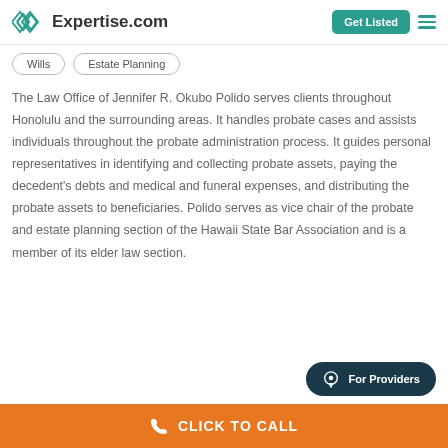Expertise.com — Get Listed
Wills
Estate Planning
The Law Office of Jennifer R. Okubo Polido serves clients throughout Honolulu and the surrounding areas. It handles probate cases and assists individuals throughout the probate administration process. It guides personal representatives in identifying and collecting probate assets, paying the decedent's debts and medical and funeral expenses, and distributing the probate assets to beneficiaries. Polido serves as vice chair of the probate and estate planning section of the Hawaii State Bar Association and is a member of its elder law section.
For Providers
CLICK TO CALL